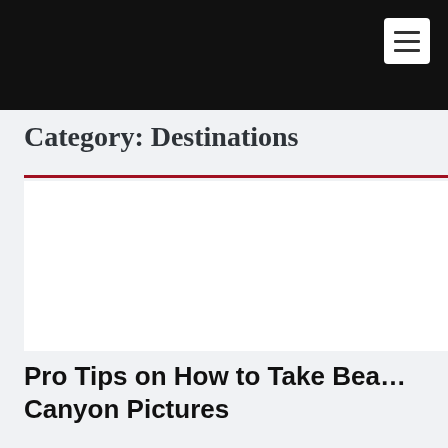Category: Destinations
Pro Tips on How to Take Bea… Canyon Pictures